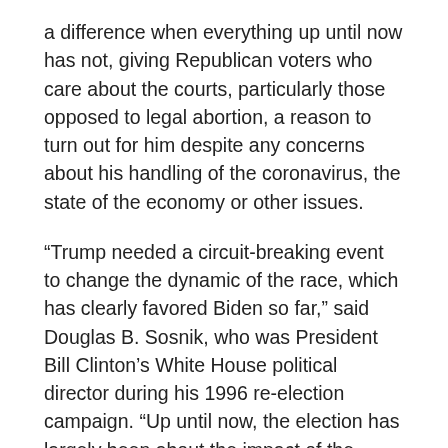a difference when everything up until now has not, giving Republican voters who care about the courts, particularly those opposed to legal abortion, a reason to turn out for him despite any concerns about his handling of the coronavirus, the state of the economy or other issues.
“Trump needed a circuit-breaking event to change the dynamic of the race, which has clearly favored Biden so far,” said Douglas B. Sosnik, who was President Bill Clinton’s White House political director during his 1996 re-election campaign. “Up until now, the election has largely been about the impact of the coronavirus on the health of the public and of the economy, and any day that’s the focus is a bad day for Trump.”
Mr. Trump vowed at his campaign rally on Saturday night to pick a woman, and people informed about the process said